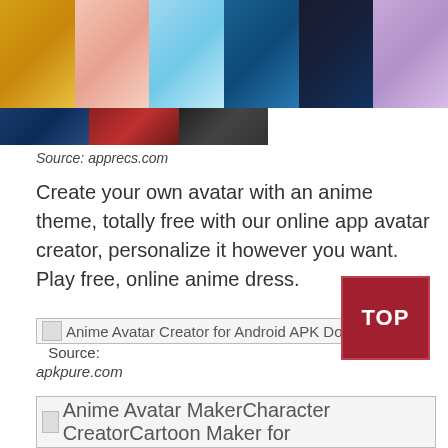[Figure (photo): Two rows of anime-themed thumbnail images in a grid: top row has 6 images (golden, pink/peach, light blue, dark blue ocean, dark city, purple/lavender), bottom row has 3 partial images (dark blue, red/dark, dark striped)]
Source: apprecs.com
Create your own avatar with an anime theme, totally free with our online app avatar creator, personalize it however you want. Play free, online anime dress.
[Figure (screenshot): Broken image icon placeholder for 'Anime Avatar Creator for Android APK Download' with source label 'Source: apkpure.com']
If you want to create your anime avatar, make kawaii anime girl factory or style beautiful looks anime avatar creator, anime maker face photo app is here to make your wish come. An amazingly complex avatar maker that, where you can create literally endless boy or girl characters in the anime style.
[Figure (screenshot): Broken image icon placeholder for 'Anime Avatar MakerCharacter CreatorCartoon Maker for']